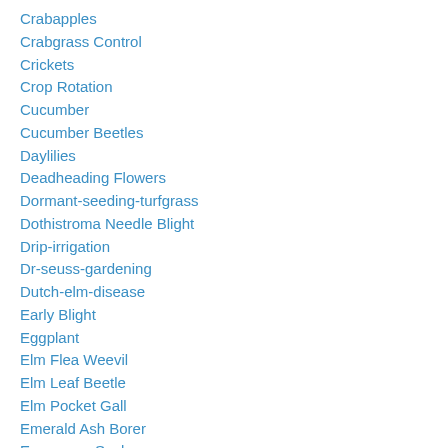Crabapples
Crabgrass Control
Crickets
Crop Rotation
Cucumber
Cucumber Beetles
Daylilies
Deadheading Flowers
Dormant-seeding-turfgrass
Dothistroma Needle Blight
Drip-irrigation
Dr-seuss-gardening
Dutch-elm-disease
Early Blight
Eggplant
Elm Flea Weevil
Elm Leaf Beetle
Elm Pocket Gall
Emerald Ash Borer
Euonymus Scale